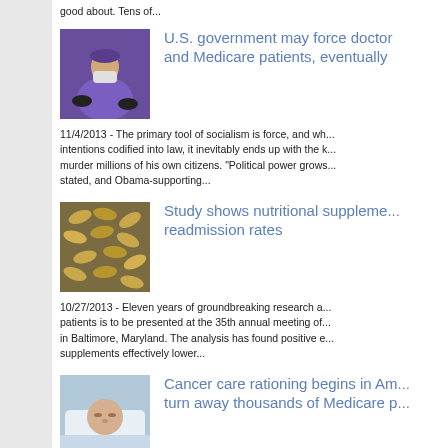good about. Tens of...
[Figure (photo): Doctor in purple scrubs with mask and gloves]
U.S. government may force doctors and Medicare patients, eventually
11/4/2013 - The primary tool of socialism is force, and when intentions codified into law, it inevitably ends up with the k... murder millions of his own citizens. "Political power grows..." stated, and Obama-supporting...
[Figure (photo): Gold/yellow supplement capsules/pills scattered]
Study shows nutritional supplements lower readmission rates
10/27/2013 - Eleven years of groundbreaking research and patients is to be presented at the 35th annual meeting of in Baltimore, Maryland. The analysis has found positive e... supplements effectively lower...
[Figure (photo): Elderly patient lying in hospital bed]
Cancer care rationing begins in America: turn away thousands of Medicare p...
4/11/2013 - Federal sequestration measures that came in... impossible for many cancer clinics across the country to a...